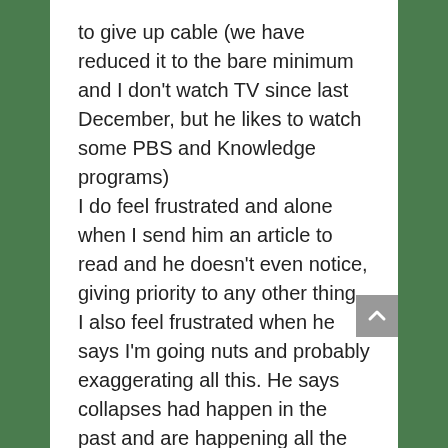to give up cable (we have reduced it to the bare minimum and I don't watch TV since last December, but he likes to watch some PBS and Knowledge programs)
I do feel frustrated and alone when I send him an article to read and he doesn't even notice, giving priority to any other thing. I also feel frustrated when he says I'm going nuts and probably exaggerating all this. He says collapses had happen in the past and are happening all the time in other countries (which is true and I agree, but that doesn't make “this” collapse less important and “this” is actually deeper and will reach a wider audience). He also says that preparing doesn't make any sense, as if anything really big happens, there will be no way to “survive” if we have a vegetable garden and stock food and our neighbours don't (which is also true…